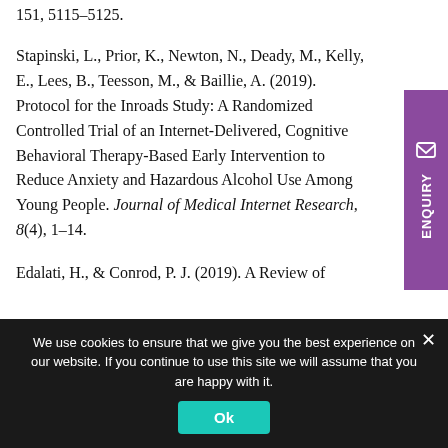151, 5115-5125.
Stapinski, L., Prior, K., Newton, N., Deady, M., Kelly, E., Lees, B., Teesson, M., & Baillie, A. (2019). Protocol for the Inroads Study: A Randomized Controlled Trial of an Internet-Delivered, Cognitive Behavioral Therapy-Based Early Intervention to Reduce Anxiety and Hazardous Alcohol Use Among Young People. Journal of Medical Internet Research, 8(4), 1-14.
Edalati, H., & Conrod, P. J. (2019). A Review of
We use cookies to ensure that we give you the best experience on our website. If you continue to use this site we will assume that you are happy with it.